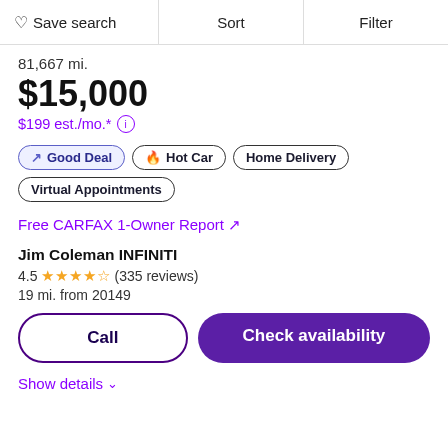Save search | Sort | Filter
81,667 mi.
$15,000
$199 est./mo.*
Good Deal | Hot Car | Home Delivery | Virtual Appointments
Free CARFAX 1-Owner Report ↗
Jim Coleman INFINITI
4.5 ★★★★½ (335 reviews)
19 mi. from 20149
Call
Check availability
Show details ∨